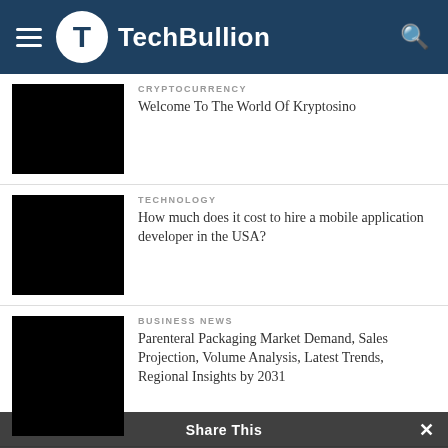TechBullion
CRYPTOCURRENCY
Welcome To The World Of Kryptosino
TECHNOLOGY
How much does it cost to hire a mobile application developer in the USA?
BUSINESS NEWS
Parenteral Packaging Market Demand, Sales Projection, Volume Analysis, Latest Trends, Regional Insights by 2031
BUSINESS NEWS
Cosmetic Filler Pen Market Innovation, Industry Analysis, Driver
Share This